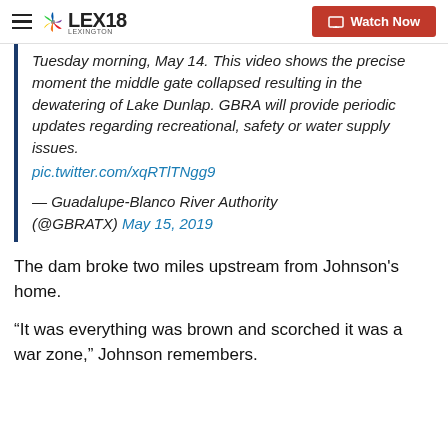LEX18 — Watch Now
Tuesday morning, May 14. This video shows the precise moment the middle gate collapsed resulting in the dewatering of Lake Dunlap. GBRA will provide periodic updates regarding recreational, safety or water supply issues. pic.twitter.com/xqRTlTNgg9
— Guadalupe-Blanco River Authority (@GBRATX) May 15, 2019
The dam broke two miles upstream from Johnson's home.
“It was everything was brown and scorched it was a war zone,” Johnson remembers.